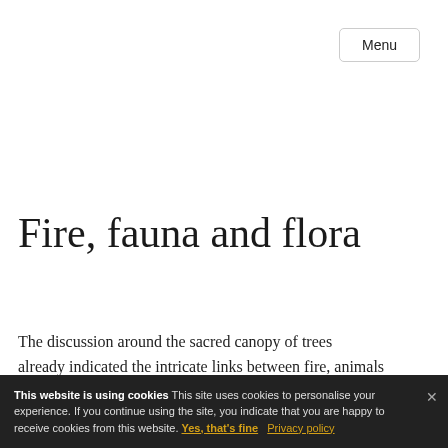Menu
Fire, fauna and flora
The discussion around the sacred canopy of trees already indicated the intricate links between fire, animals and plants.
This website is using cookies This site uses cookies to personalise your experience. If you continue using the site, you indicate that you are happy to receive cookies from this website. Yes, that's fine Privacy policy
The links between...